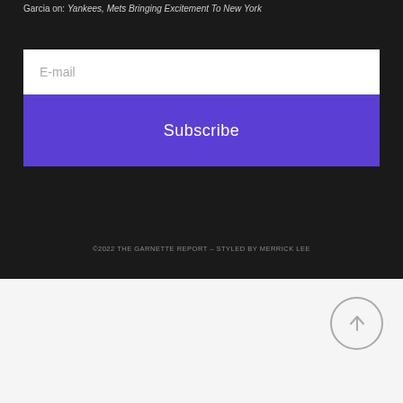Garcia on: Yankees, Mets Bringing Excitement To New York
E-mail
Subscribe
©2022 THE GARNETTE REPORT – STYLED BY MERRICK LEE
[Figure (other): Scroll-to-top button: circular outlined arrow pointing upward]